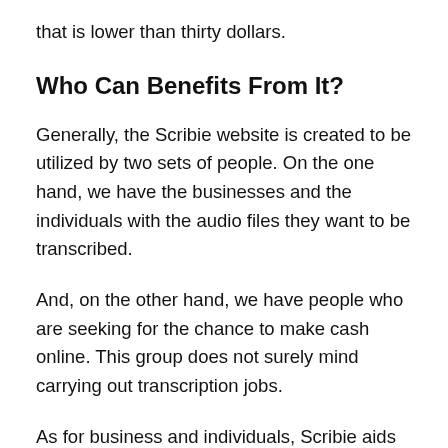that is lower than thirty dollars.
Who Can Benefits From It?
Generally, the Scribie website is created to be utilized by two sets of people. On the one hand, we have the businesses and the individuals with the audio files they want to be transcribed.
And, on the other hand, we have people who are seeking for the chance to make cash online. This group does not surely mind carrying out transcription jobs.
As for business and individuals, Scribie aids in providing them with the opportunity to get all of